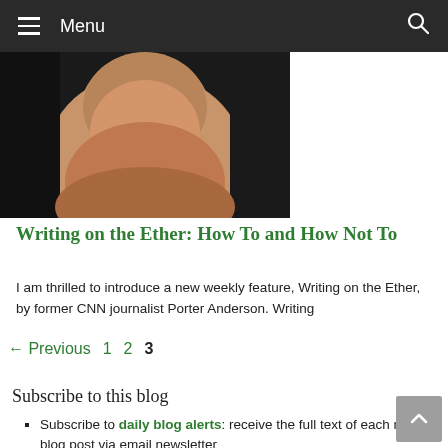Menu
[Figure (photo): Partial face photo, close-up of a person's chin and lower face area against a dark background]
Writing on the Ether: How To and How Not To
I am thrilled to introduce a new weekly feature, Writing on the Ether, by former CNN journalist Porter Anderson. Writing
← Previous 1 2 3
Subscribe to this blog
Subscribe to daily blog alerts: receive the full text of each new blog post via email newsletter